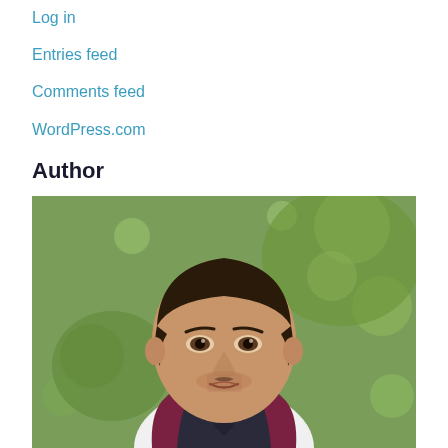Log in
Entries feed
Comments feed
WordPress.com
Author
[Figure (photo): Portrait photo of a man with dark hair, wearing a dark vest and white shirt with a dark tie, photographed outdoors with a blurred green background]